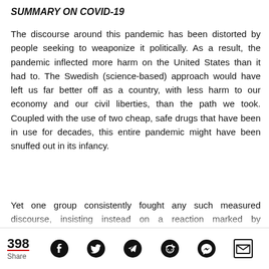SUMMARY ON COVID-19
The discourse around this pandemic has been distorted by people seeking to weaponize it politically. As a result, the pandemic inflected more harm on the United States than it had to. The Swedish (science-based) approach would have left us far better off as a country, with less harm to our economy and our civil liberties, than the path we took. Coupled with the use of two cheap, safe drugs that have been in use for decades, this entire pandemic might have been snuffed out in its infancy.
Yet one group consistently fought any such measured discourse, insisting instead on a reaction marked by unscientific hysteria and, arguably, political calculation
398 Share [social share icons: Facebook, Twitter, Telegram, Reddit, Messenger, Email]